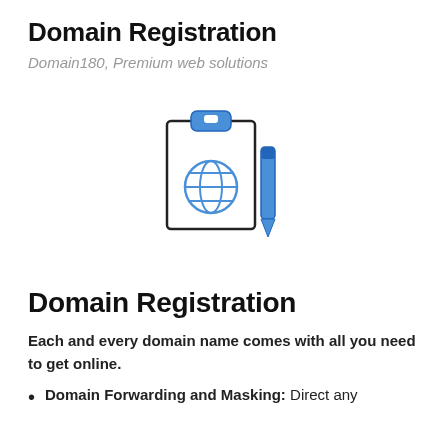Domain Registration
Domain180, Premium web solutions
[Figure (illustration): Clipboard icon with a globe symbol on the clipboard face and a blue pen to the right, with a blue clip at the top]
Domain Registration
Each and every domain name comes with all you need to get online.
Domain Forwarding and Masking: Direct any